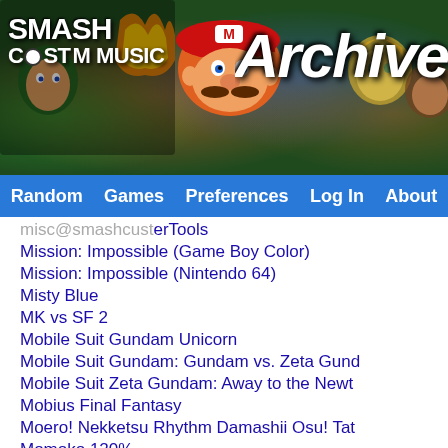[Figure (screenshot): Smash Custom Music website header banner with game characters (Mario, Link, etc.) and 'Archive' text overlay]
Random | Games | Preferences | Log In | About
misc@smashcustomTools
Mission: Impossible (Game Boy Color)
Mission: Impossible (Nintendo 64)
Misty Blue
MK vs SF 2
Mobile Suit Gundam Unicorn
Mobile Suit Gundam: Gundam vs. Zeta Gund...
Mobile Suit Zeta Gundam: Away to the Newt...
Mobius Final Fantasy
Moero! Nekketsu Rhythm Damashii Osu! Tat...
Momoko 120%
Money Puzzle Exchanger
Monkey Ball
Monster Boy and the Cursed Kingdom
Monster Girl Quest
Monster Girl Quest! Paradox RPG
Monster High: New Ghoul in School...